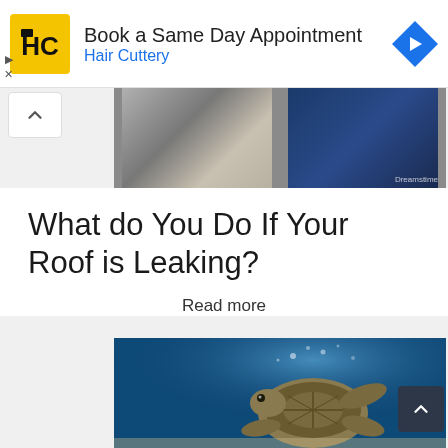[Figure (logo): Hair Cuttery ad banner with HC logo in yellow square, text 'Book a Same Day Appointment' and 'Hair Cuttery' in blue, blue diamond arrow icon on right]
[Figure (photo): Partial photo strip showing two people, one in grey shirt and one in dark navy blue top, cropped at top of page]
What do You Do If Your Roof is Leaking?
Read more
[Figure (photo): Underwater photo of a sea turtle swimming near the surface with blue water and bubbles visible]